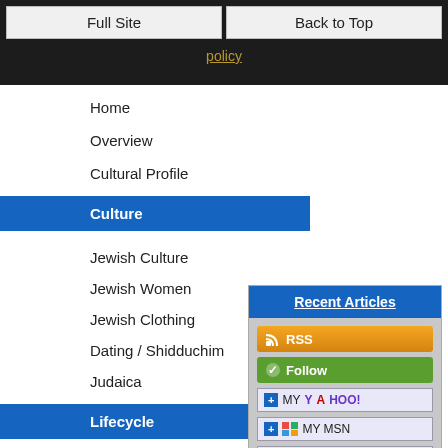Full Site | Back to Top
policy
Home
Overview
Cultural Profile
Culture
Jewish Culture
Jewish Women
Jewish Clothing
Dating / Shidduchim
Judaica
Lifecycle
[Figure (screenshot): Recent Articles widget with RSS, Follow, My Yahoo!, My MSN, and Bloglines subscription buttons]